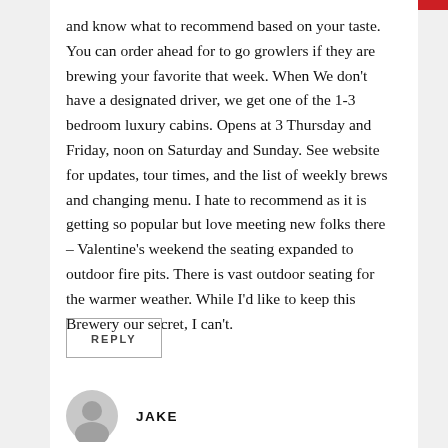and know what to recommend based on your taste. You can order ahead for to go growlers if they are brewing your favorite that week. When We don't have a designated driver, we get one of the 1-3 bedroom luxury cabins. Opens at 3 Thursday and Friday, noon on Saturday and Sunday. See website for updates, tour times, and the list of weekly brews and changing menu. I hate to recommend as it is getting so popular but love meeting new folks there – Valentine's weekend the seating expanded to outdoor fire pits. There is vast outdoor seating for the warmer weather. While I'd like to keep this Brewery our secret, I can't.
REPLY
JAKE